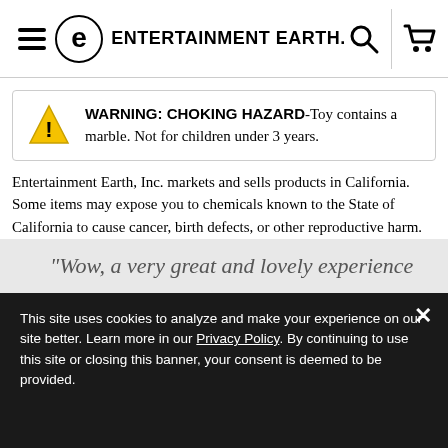Entertainment Earth
WARNING: CHOKING HAZARD-Toy contains a marble. Not for children under 3 years.
Entertainment Earth, Inc. markets and sells products in California. Some items may expose you to chemicals known to the State of California to cause cancer, birth defects, or other reproductive harm.
WARNING: PROP 65 WARNING-Cancer and Reproductive Harm - www.P65Warnings.ca.gov.
"Wow, a very great and lovely experience
This site uses cookies to analyze and make your experience on our site better. Learn more in our Privacy Policy. By continuing to use this site or closing this banner, your consent is deemed to be provided.